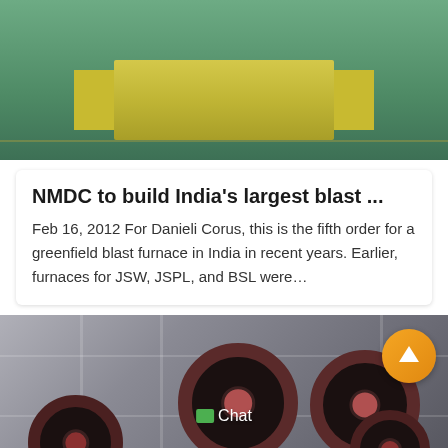[Figure (photo): Top image showing industrial machinery — yellow/gold colored equipment on a green factory floor, viewed from above/side]
NMDC to build India's largest blast ...
Feb 16, 2012 For Danieli Corus, this is the fifth order for a greenfield blast furnace in India in recent years. Earlier, furnaces for JSW, JSPL, and BSL were…
[Figure (photo): Bottom image showing large industrial crusher/jaw crusher wheels and machinery in a factory setting, with large dark red and black circular wheels visible]
Leave Message    Chat Online